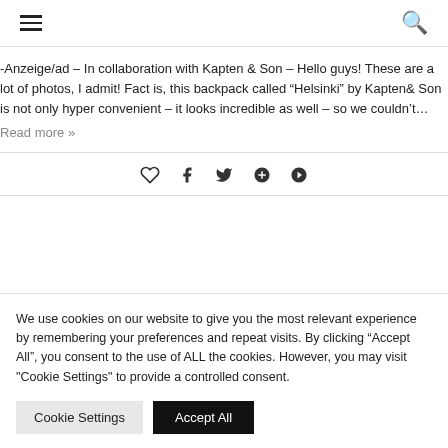Navigation menu and search icons
-Anzeige/ad – In collaboration with Kapten & Son – Hello guys! These are a lot of photos, I admit! Fact is, this backpack called “Helsinki” by Kapten& Son is not only hyper convenient – it looks incredible as well – so we couldn’t…
Read more »
[Figure (infographic): Social sharing icons: heart (like), Facebook, Twitter, Google+, Pinterest]
We use cookies on our website to give you the most relevant experience by remembering your preferences and repeat visits. By clicking “Accept All”, you consent to the use of ALL the cookies. However, you may visit "Cookie Settings" to provide a controlled consent.